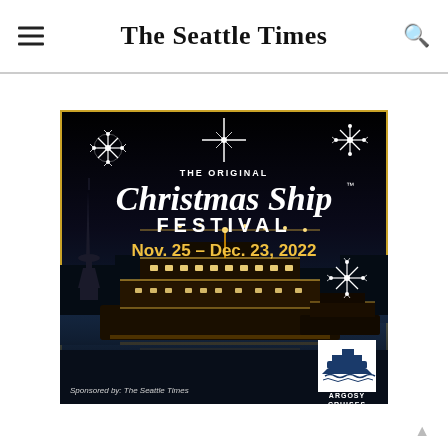The Seattle Times
[Figure (illustration): Advertisement for The Original Christmas Ship Festival, Nov. 25 – Dec. 23, 2022, sponsored by The Seattle Times and Argosy Cruises. Shows a lit cruise ship at night with Seattle Space Needle in background, snowflakes, and holiday decorations. Gold border on black background.]